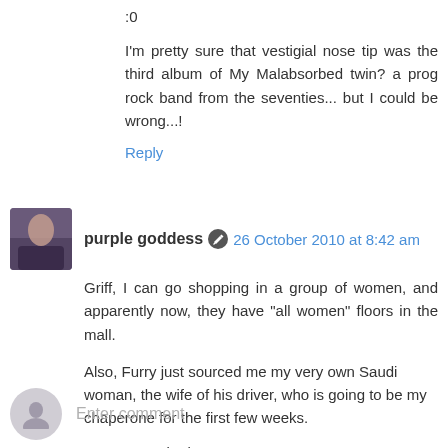:0
I'm pretty sure that vestigial nose tip was the third album of My Malabsorbed twin? a prog rock band from the seventies... but I could be wrong...!
Reply
purple goddess 26 October 2010 at 8:42 am
Griff, I can go shopping in a group of women, and apparently now, they have "all women" floors in the mall.
Also, Furry just sourced me my very own Saudi woman, the wife of his driver, who is going to be my chaperone for the first few weeks.
I am SO excited!
Reply
Enter comment